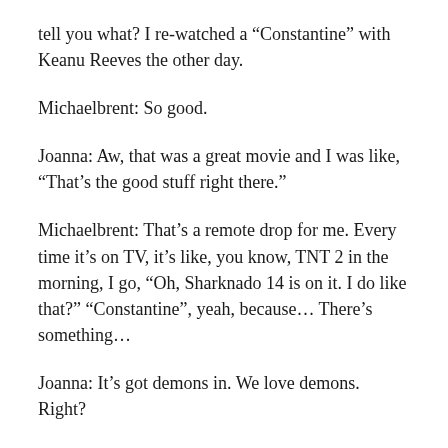tell you what? I re-watched a “Constantine” with Keanu Reeves the other day.
Michaelbrent: So good.
Joanna: Aw, that was a great movie and I was like, “That’s the good stuff right there.”
Michaelbrent: That’s a remote drop for me. Every time it’s on TV, it’s like, you know, TNT 2 in the morning, I go, “Oh, Sharknado 14 is on it. I do like that?” “Constantine”, yeah, because… There’s something…
Joanna: It’s got demons in. We love demons. Right?